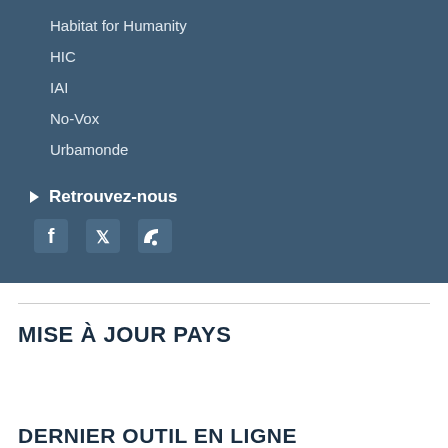Habitat for Humanity
HIC
IAI
No-Vox
Urbamonde
Retrouvez-nous
[Figure (other): Social media icons: Facebook, Twitter, RSS feed]
MISE À JOUR PAYS
DERNIER OUTIL EN LIGNE